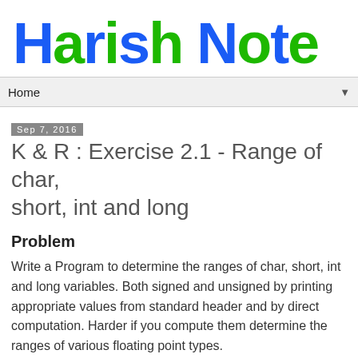Harish Note
Home ▼
Sep 7, 2016
K & R : Exercise 2.1 - Range of char, short, int and long
Problem
Write a Program to determine the ranges of char, short, int and long variables. Both signed and unsigned by printing appropriate values from standard header and by direct computation. Harder if you compute them determine the ranges of various floating point types.